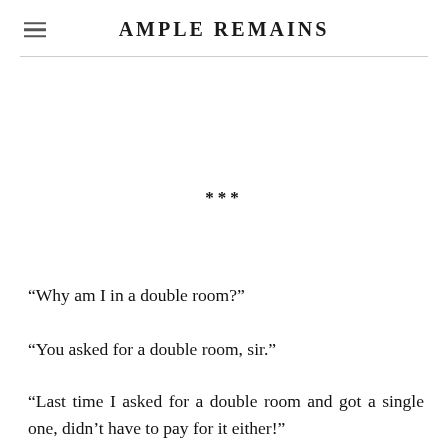AMPLE REMAINS
***
“Why am I in a double room?”
“You asked for a double room, sir.”
“Last time I asked for a double room and got a single one, didn’t have to pay for it either!”